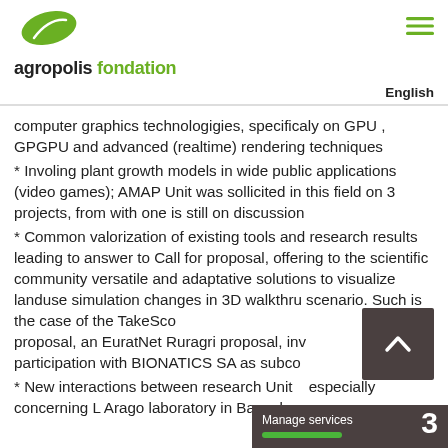[Figure (logo): Agropolis Fondation logo with green leaf icon and text 'agropolis fondation']
English
computer graphics technologigies, specificaly on GPU , GPGPU and advanced (realtime) rendering techniques
* Involing plant growth models in wide public applications (video games); AMAP Unit was sollicited in this field on 3 projects, from with one is still on discussion
* Common valorization of existing tools and research results leading to answer to Call for proposal, offering to the scientific community versatile and adaptative solutions to visualize landuse simulation changes in 3D walkthru scenario. Such is the case of the TakeScape proposal, an EuratNet Ruragri proposal, involving INRAD participation with BIONATICS SA as subcontractor.
* New interactions between research Units, especially concerning L Arago laboratory in Banyuls and of Dominguez and Anen Units around...